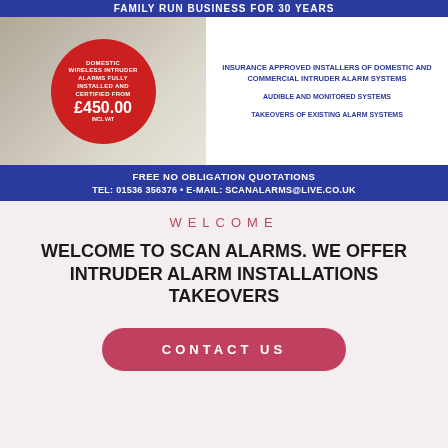FAMILY RUN BUSINESS FOR 30 YEARS
[Figure (infographic): Red circle badge over calendar background with text: DOMESTIC WIRELESS INTRUDER ALARMS FULLY INSTALLED AND CERTIFIED FROM £450.00 INCL VAT. Right side white panel with blue bold text listing services.]
INSURANCE APPROVED INSTALLERS OF DOMESTIC AND COMMERCIAL INTRUDER ALARM SYSTEMS
AUDIBLE AND MONITORED SYSTEMS
TAKEOVERS OF EXISTING ALARM SYSTEMS
FREE NO OBLIGATION QUOTATIONS
TEL: 01536 356376 • E-MAIL: SCANALARMS@LIVE.CO.UK
WELCOME
WELCOME TO SCAN ALARMS. WE OFFER INTRUDER ALARM INSTALLATIONS TAKEOVERS
CONTACT US